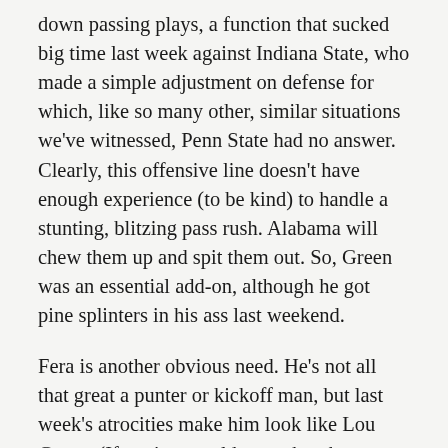down passing plays, a function that sucked big time last week against Indiana State, who made a simple adjustment on defense for which, like so many other, similar situations we've witnessed, Penn State had no answer. Clearly, this offensive line doesn't have enough experience (to be kind) to handle a stunting, blitzing pass rush. Alabama will chew them up and spit them out. So, Green was an essential add-on, although he got pine splinters in his ass last weekend.
Fera is another obvious need. He's not all that great a punter or kickoff man, but last week's atrocities make him look like Lou Groza. (If you're not old enough to know who Lou Groza is, then good for you. Figure it out.) I wonder whether he might be pressed into service for field goals, too,